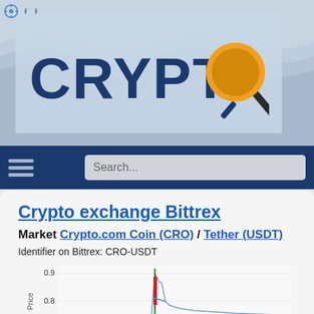[Figure (logo): CryptoSearch website logo showing 'CRYPTO' text with a magnifying glass icon containing a yellow circle, on a wavy blue/silver background]
Crypto exchange Bittrex - Market Crypto.com Coin (CRO) / Tether (USDT)
Crypto exchange Bittrex
Market Crypto.com Coin (CRO) / Tether (USDT)
Identifier on Bittrex: CRO-USDT
[Figure (continuous-plot): Line/candlestick chart of CRO-USDT price on Bittrex showing a sharp spike to approximately 0.9 with price levels at 0.9, 0.8, and 0.7 marked on y-axis. The chart shows green and red candlestick lines near the spike with a blue line. Y-axis labeled 'Price'.]